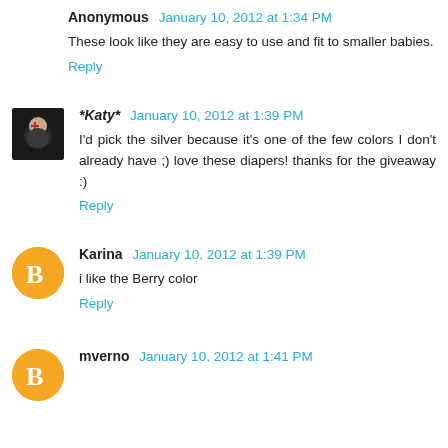Anonymous  January 10, 2012 at 1:34 PM
These look like they are easy to use and fit to smaller babies.
Reply
*Katy*  January 10, 2012 at 1:39 PM
I'd pick the silver because it's one of the few colors I don't already have ;) love these diapers! thanks for the giveaway :)
Reply
Karina  January 10, 2012 at 1:39 PM
i like the Berry color
Reply
mverno  January 10, 2012 at 1:41 PM